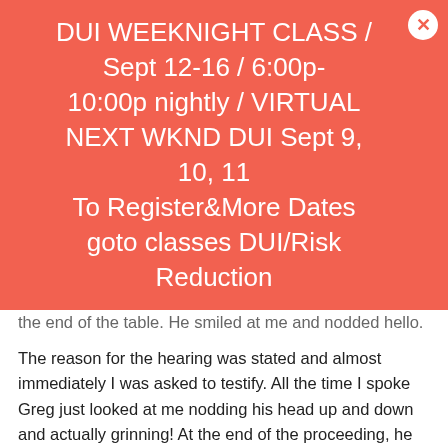DUI WEEKNIGHT CLASS / Sept 12-16 / 6:00p-10:00p nightly / VIRTUAL NEXT WKND DUI Sept 9, 10, 11 To Register&More Dates goto classes DUI/Risk Reduction
the end of the table. He smiled at me and nodded hello.
The reason for the hearing was stated and almost immediately I was asked to testify. All the time I spoke Greg just looked at me nodding his head up and down and actually grinning! At the end of the proceeding, he was sentenced to three years in prison. After the hearing, he